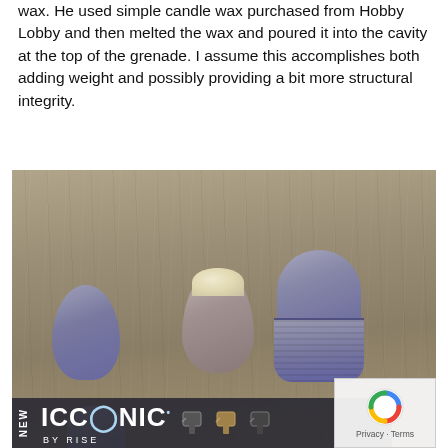wax. He used simple candle wax purchased from Hobby Lobby and then melted the wax and poured it into the cavity at the top of the grenade. I assume this accomplishes both adding weight and possibly providing a bit more structural integrity.
[Figure (photo): Photograph of three bullet/grenade shaped objects on a weathered wooden surface. Left object is a small grey rounded cap. Center object is a grey metallic bullet shape with white wax visible at the top opening. Right object is a larger assembled grey 3D-printed grenade body with ridged lower section. A partial fourth object is visible at the bottom left. An 'ICONIC BY RISE' advertisement banner overlays the bottom of the image. A reCAPTCHA widget appears in the bottom right corner.]